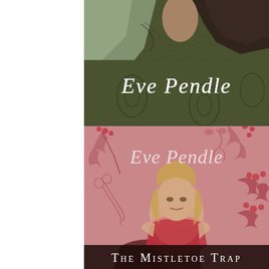[Figure (illustration): Book cover top half: woman in a sage green dress lying on an ornate dark olive green damask fabric background, with cursive script text 'Eve Pendle' in white]
[Figure (photo): Book cover bottom half: pink background with red holly leaf and mistletoe botanical illustrations, blonde woman in red lace dress seated, cursive 'Eve Pendle' in white at top, dark banner at bottom with title 'The Mistletoe Trap' in serif white caps]